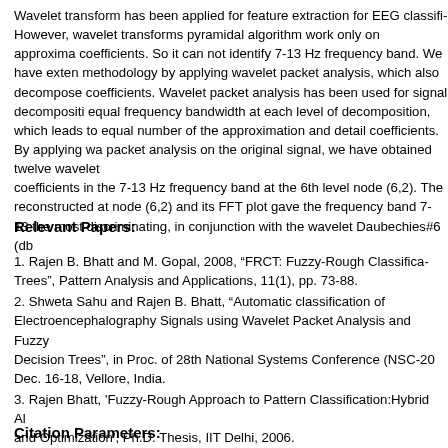Wavelet transform has been applied for feature extraction for EEG classifi... However, wavelet transforms pyramidal algorithm work only on approxima... coefficients. So it can not identify 7-13 Hz frequency band. We have exten... methodology by applying wavelet packet analysis, which also decompose... coefficients. Wavelet packet analysis has been used for signal decompositi... equal frequency bandwidth at each level of decomposition, which leads to... equal number of the approximation and detail coefficients. By applying wa... packet analysis on the original signal, we have obtained twelve wavelet coefficients in the 7-13 Hz frequency band at the 6th level node (6,2). The reconstructed at node (6,2) and its FFT plot gave the frequency band 7-13... the most discriminating, in conjunction with the wavelet Daubechies#6 (db...
Relevant Papers:
1. Rajen B. Bhatt and M. Gopal, 2008, “FRCT: Fuzzy-Rough Classifica... Trees”, Pattern Analysis and Applications, 11(1), pp. 73-88.
2. Shweta Sahu and Rajen B. Bhatt, “Automatic classification of Electroencephalography Signals using Wavelet Packet Analysis and Fuzzy... Decision Trees”, in Proc. of 28th National Systems Conference (NSC-20... Dec. 16-18, Vellore, India.
3. Rajen Bhatt, 'Fuzzy-Rough Approach to Pattern Classification:Hybrid Al... and Optimization', Ph.D. Thesis, IIT Delhi, 2006.
Citation Parameters: